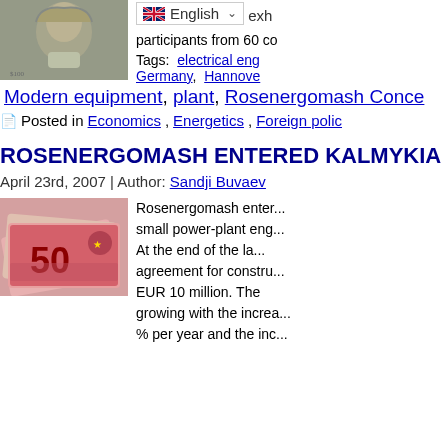[Figure (photo): Close-up of a US 100 dollar bill showing Benjamin Franklin's portrait]
participants from 60 co...
Tags:  electrical eng..., Germany,  Hannove..., Modern equipment, plant, Rosenergomash Conce...
Posted in Economics, Energetics, Foreign polic...
ROSENERGOMASH ENTERED KALMYKIA I...
April 23rd, 2007 | Author: Sandji Buvaev
[Figure (photo): Close-up of Euro banknotes, prominently showing a 50 Euro note]
Rosenergomash enter... small power-plant eng... At the end of the la... agreement for constru... EUR 10 million. The... growing with the increa... % per year and the inc...